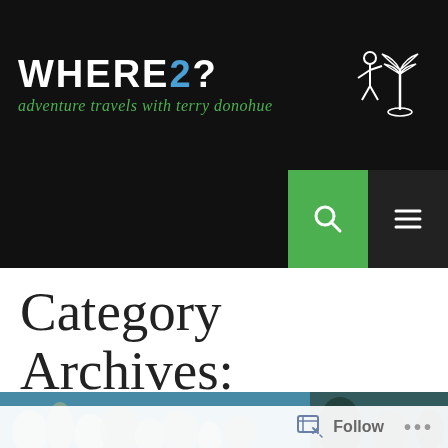WHERE2? adventure travels with terry donohue
Category Archives: Scuba Diving
[Figure (photo): Underwater coral reef scene with blue water and coral formations]
Follow ...